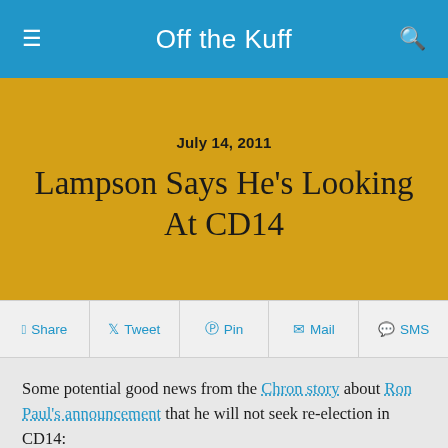Off the Kuff
Lampson Says He's Looking At CD14
July 14, 2011
Share  Tweet  Pin  Mail  SMS
Some potential good news from the Chron story about Ron Paul's announcement that he will not seek re-election in CD14:
One with a definite interest in the race is Nick Lampson, a Beaumont Democrat who represented Texas' 9th Congressional District